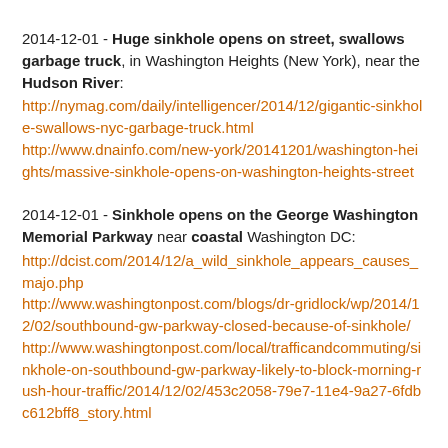2014-12-01 - Huge sinkhole opens on street, swallows garbage truck, in Washington Heights (New York), near the Hudson River: http://nymag.com/daily/intelligencer/2014/12/gigantic-sinkhole-swallows-nyc-garbage-truck.html http://www.dnainfo.com/new-york/20141201/washington-heights/massive-sinkhole-opens-on-washington-heights-street
2014-12-01 - Sinkhole opens on the George Washington Memorial Parkway near coastal Washington DC: http://dcist.com/2014/12/a_wild_sinkhole_appears_causes_majo.php http://www.washingtonpost.com/blogs/dr-gridlock/wp/2014/12/02/southbound-gw-parkway-closed-because-of-sinkhole/ http://www.washingtonpost.com/local/trafficandcommuting/sinkhole-on-southbound-gw-parkway-likely-to-block-morning-rush-hour-traffic/2014/12/02/453c2058-79e7-11e4-9a27-6fdbc612bff8_story.html